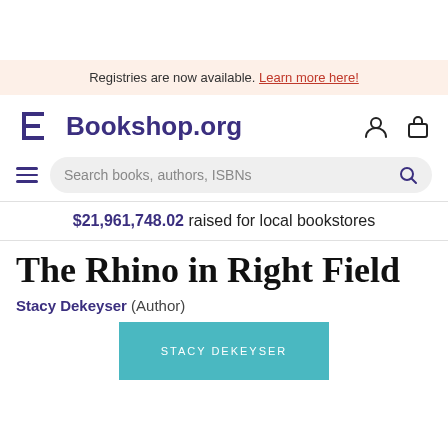Registries are now available. Learn more here!
Bookshop.org
$21,961,748.02 raised for local bookstores
The Rhino in Right Field
Stacy Dekeyser (Author)
[Figure (other): Bookshop.org website screenshot showing banner, logo, search bar, fundraising total, book title, author, and partial book cover in cyan]